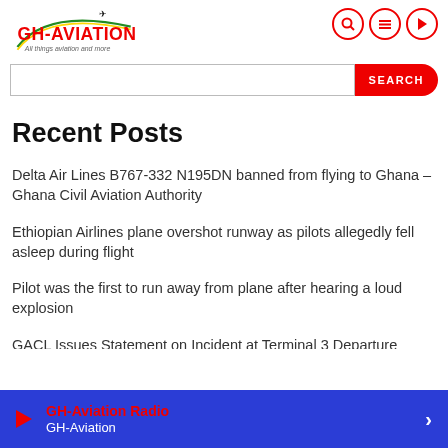GH-AVIATION — All things aviation and more
Recent Posts
Delta Air Lines B767-332 N195DN banned from flying to Ghana – Ghana Civil Aviation Authority
Ethiopian Airlines plane overshot runway as pilots allegedly fell asleep during flight
Pilot was the first to run away from plane after hearing a loud explosion
GACL Issues Statement on Incident at Terminal 3 Departure
GH-Aviation Radio — GH-Aviation